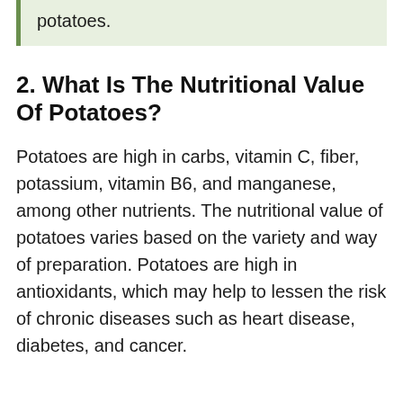potatoes.
2. What Is The Nutritional Value Of Potatoes?
Potatoes are high in carbs, vitamin C, fiber, potassium, vitamin B6, and manganese, among other nutrients. The nutritional value of potatoes varies based on the variety and way of preparation. Potatoes are high in antioxidants, which may help to lessen the risk of chronic diseases such as heart disease, diabetes, and cancer.